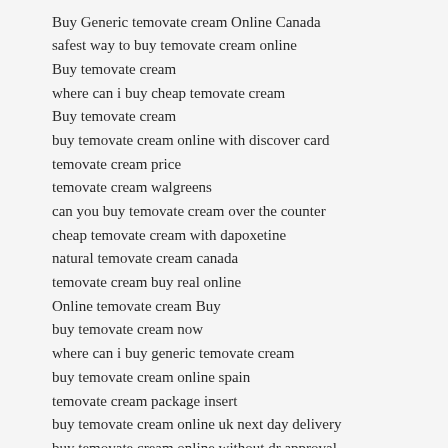Buy Generic temovate cream Online Canada
safest way to buy temovate cream online
Buy temovate cream
where can i buy cheap temovate cream
Buy temovate cream
buy temovate cream online with discover card
temovate cream price
temovate cream walgreens
can you buy temovate cream over the counter
cheap temovate cream with dapoxetine
natural temovate cream canada
temovate cream buy real online
Online temovate cream Buy
buy temovate cream now
where can i buy generic temovate cream
buy temovate cream online spain
temovate cream package insert
buy temovate cream online uk next day delivery
buy temovate cream online without dr approval
order temovate cream saturday delivery
temovate cream without prescription cod
shipping for temovate cream
buy temovate cream online discreetly
Order temovate cream Online Canada